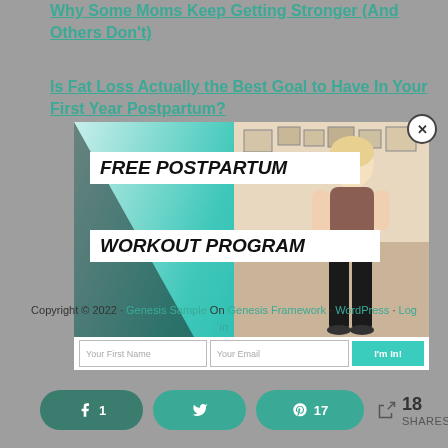Why Some Moms Keep Getting Stronger (And Others Don't)
Is Fat Loss Actually the Best Goal to Have In Your First Year Postpartum?
[Figure (infographic): Popup modal for a free postpartum workout program signup. Features a teal/turquoise background with a photo of a blonde woman in athletic wear. Text reads 'FREE POSTPARTUM WORKOUT PROGRAM' in large bold italic uppercase letters on white banners. Contains form fields for First Name and Email, and a teal 'I'm In!' button. Has a circular close (X) button in top right.]
Copyright © 2022 · Genesis Sample On Genesis Framework · WordPress · Log in
1  17  < 18 SHARES